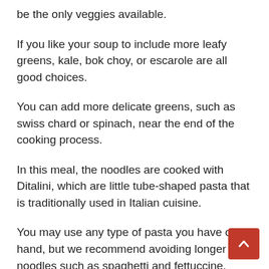be the only veggies available.
If you like your soup to include more leafy greens, kale, bok choy, or escarole are all good choices.
You can add more delicate greens, such as swiss chard or spinach, near the end of the cooking process.
In this meal, the noodles are cooked with Ditalini, which are little tube-shaped pasta that is traditionally used in Italian cuisine.
You may use any type of pasta you have on hand, but we recommend avoiding longer noodles such as spaghetti and fettuccine.
It is also recommended that...